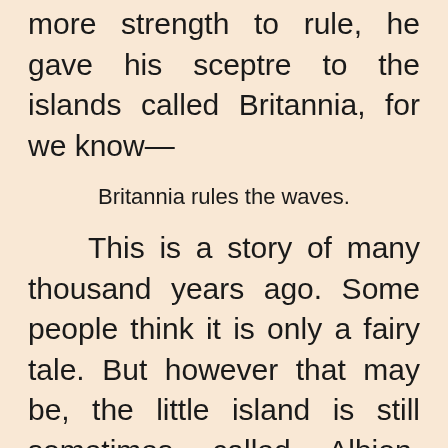more strength to rule, he gave his sceptre to the islands called Britannia, for we know—
Britannia rules the waves.
This is a story of many thousand years ago. Some people think it is only a fairy tale. But however that may be, the little island is still sometimes called Albion, although it is nearly always called Britain.